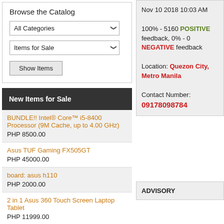Browse the Catalog
All Categories
Items for Sale
Show Items
New Items for Sale
BUNDLE!! Intel® Core™ i5-8400 Processor (9M Cache, up to 4.00 GHz)
PHP 8500.00
Asus TUF Gaming FX505GT
PHP 45000.00
board: asus h110
PHP 2000.00
2 in 1 Asus 360 Touch Screen Laptop Tablet
PHP 11999.00
Nov 10 2018 10:03 AM
100% - 5160 POSITIVE feedback, 0% - 0 NEGATIVE feedback
Location: Quezon City, Metro Manila
Contact Number: 09178098784
ADVISORY